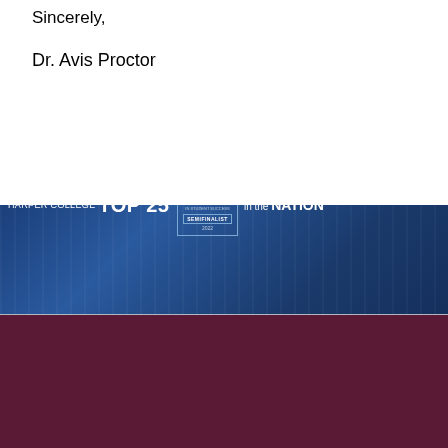Sincerely,
Dr. Avis Proctor
[Figure (infographic): Harper College Top 25 in the Nation banner with Aspen Prize Semifinalist 2022 badge on dark blue background with blurred graduates]
[Figure (screenshot): Search bar with white input field and red Ask Question button on dark navy background]
Contact Information
Map
Harper uses cookies to enhance your browsing experience. Find out more on how we use cookies and how you can change your settings.
I Agree
Educational Foundation